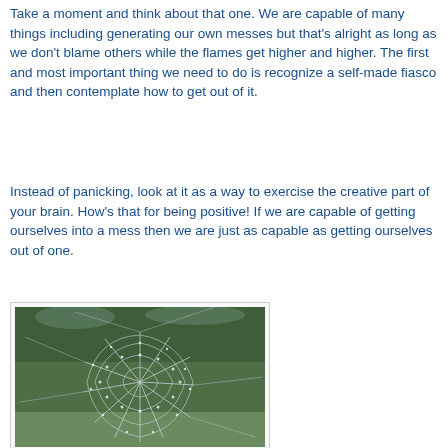Take a moment and think about that one.  We are capable of many things including generating our own messes but that's alright as long as we don't blame others while the flames get higher and higher.  The first and most important thing we need to do is recognize a self-made fiasco and then contemplate how to get out of it.
Instead of panicking, look at it as a way to exercise the creative part of your brain.  How's that for being positive!  If we are capable of getting ourselves into a mess then we are just as capable as getting ourselves out of one.
[Figure (photo): A large spider web with dew drops on it, photographed outdoors with green trees in the background.]